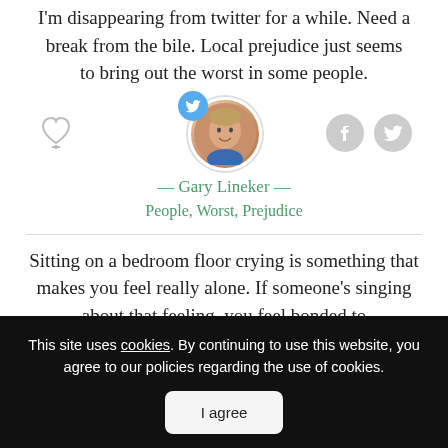I'm disappearing from twitter for a while. Need a break from the bile. Local prejudice just seems to bring out the worst in some people.
[Figure (photo): Circular avatar photo of Gary Lineker with a Twitter bird icon overlay, flanked by a heart/like icon on the left and Facebook and Twitter share icons on the right.]
— Gary Lineker —
People, Worst, Prejudice
Sitting on a bedroom floor crying is something that makes you feel really alone. If someone's singing about that feeling, you feel bonded to
This site uses cookies. By continuing to use this website, you agree to our policies regarding the use of cookies.
I agree